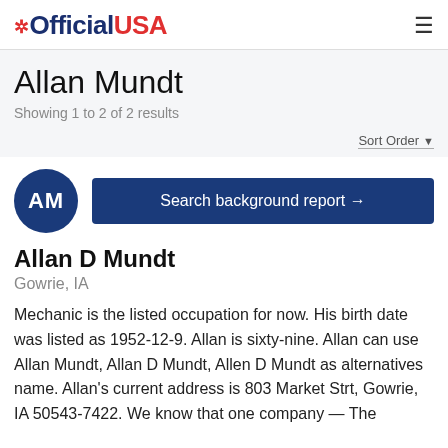OfficialUSA
Allan Mundt
Showing 1 to 2 of 2 results
Sort Order ▼
[Figure (other): Blue circular avatar with initials AM and a Search background report button]
Allan D Mundt
Gowrie, IA
Mechanic is the listed occupation for now. His birth date was listed as 1952-12-9. Allan is sixty-nine. Allan can use Allan Mundt, Allan D Mundt, Allen D Mundt as alternatives name. Allan's current address is 803 Market Strt, Gowrie, IA 50543-7422. We know that one company — The